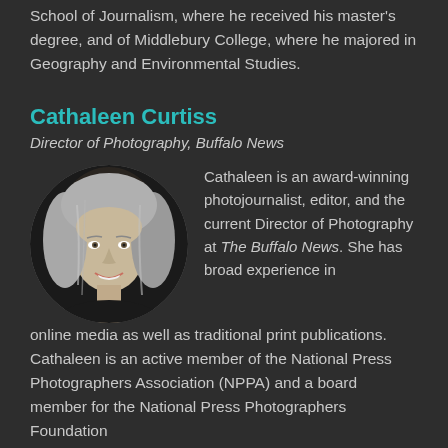School of Journalism, where he received his master's degree, and of Middlebury College, where he majored in Geography and Environmental Studies.
Cathaleen Curtiss
Director of Photography, Buffalo News
[Figure (photo): Circular headshot photo of Cathaleen Curtiss, a woman with long silver-gray hair, smiling, against a dark background.]
Cathaleen is an award-winning photojournalist, editor, and the current Director of Photography at The Buffalo News. She has broad experience in online media as well as traditional print publications. Cathaleen is an active member of the National Press Photographers Association (NPPA) and a board member for the National Press Photographers Foundation